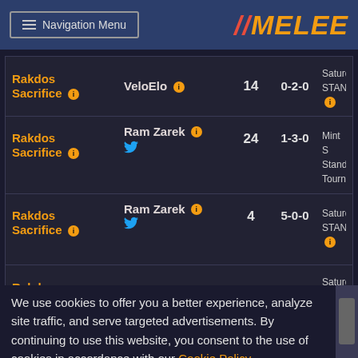Navigation Menu | MELEE
| Deck | Player | Num | Record | Event |
| --- | --- | --- | --- | --- |
| Rakdos Sacrifice | VeloElo | 14 | 0-2-0 | Saturday STAN |
| Rakdos Sacrifice | Ram Zarek | 24 | 1-3-0 | Mint S Stand Tourn |
| Rakdos Sacrifice | Ram Zarek | 4 | 5-0-0 | Saturday STAN |
| Rakdos Sacrifice | Rhycore | 7 | 2-1-0 | Saturday STAN |
| Rakdos Sacrifice |  | 20 | 1-0 | M:TG #18 |
| Rakdos Sacrifice |  |  |  | $250 |
We use cookies to offer you a better experience, analyze site traffic, and serve targeted advertisements. By continuing to use this website, you consent to the use of cookies in accordance with our Cookie Policy.